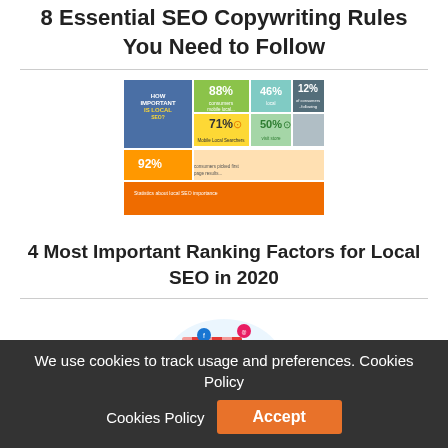8 Essential SEO Copywriting Rules You Need to Follow
[Figure (infographic): Infographic: How Important is Local SEO? Statistics including 88%, 46%, 12%, 71%, 50%, 92%]
4 Most Important Ranking Factors for Local SEO in 2020
[Figure (illustration): Illustration of a mobile phone with a market stall canopy, surrounded by social/location icons and a world map background]
We use cookies to track usage and preferences. Cookies Policy  Accept